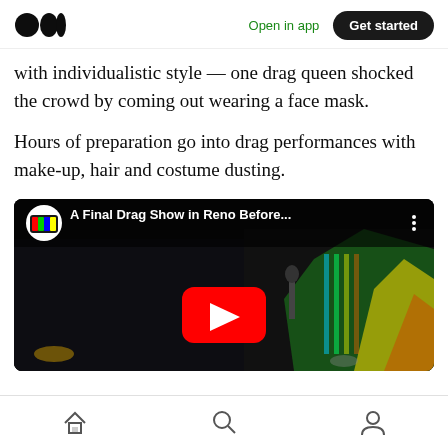Medium logo | Open in app | Get started
with individualistic style — one drag queen shocked the crowd by coming out wearing a face mask.
Hours of preparation go into drag performances with make-up, hair and costume dusting.
[Figure (screenshot): YouTube video embed titled 'A Final Drag Show in Reno Before...' showing a drag performer on stage in a colorful sequined costume singing into a microphone, with a red YouTube play button overlay]
Home | Search | Profile navigation icons